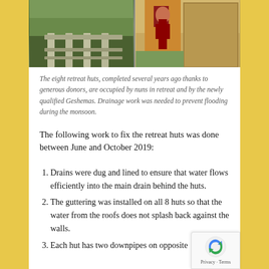[Figure (photo): Two photos side by side: left shows concrete drainage channels/gutters along a path with greenery; right shows a monk/nun in red robes standing near a stone building.]
The eight retreat huts, completed several years ago thanks to generous donors, are occupied by nuns in retreat and by the newly qualified Geshemas. Drainage work was needed to prevent flooding during the monsoon.
The following work to fix the retreat huts was done between June and October 2019:
Drains were dug and lined to ensure that water flows efficiently into the main drain behind the huts.
The guttering was installed on all 8 huts so that the water from the roofs does not splash back against the walls.
Each hut has two downpipes on opposite